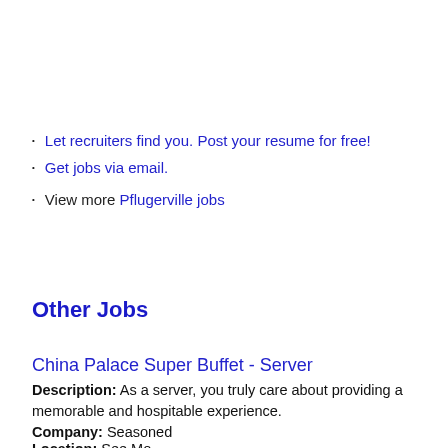Let recruiters find you. Post your resume for free!
Get jobs via email.
View more Pflugerville jobs
Other Jobs
China Palace Super Buffet - Server
Description: As a server, you truly care about providing a memorable and hospitable experience.
Company: Seasoned
Location: See More...